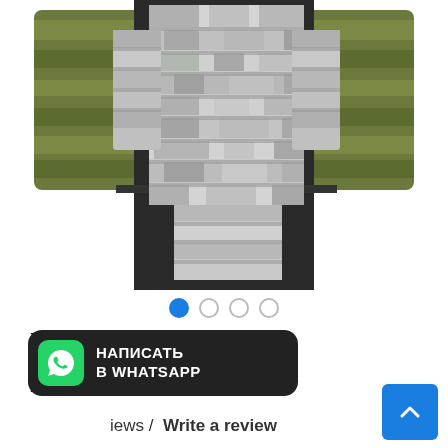[Figure (photo): Product photo of a Universal Shoulder Protection 'Atom' body armor piece with grey camouflage pattern, worn on a mannequin with green multicam sleeves visible. The armor shows a chest plate carrier with side plates and MOLLE webbing.]
• • • •  (4 navigation dots, first one active/blue)
Universal Shoulder Protection "Atom"
НАПИСАТЬ В WHATSAPP
iews /   Write a review